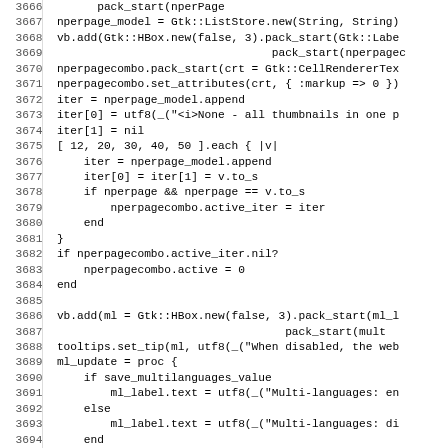[Figure (screenshot): Source code listing (Ruby) with line numbers 3666-3698, showing GTK ListStore, combo box, and multilanguage UI code]